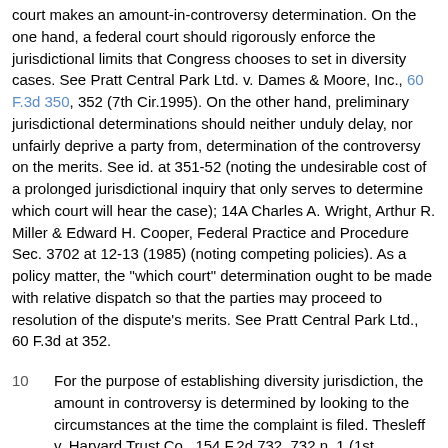court makes an amount-in-controversy determination. On the one hand, a federal court should rigorously enforce the jurisdictional limits that Congress chooses to set in diversity cases. See Pratt Central Park Ltd. v. Dames & Moore, Inc., 60 F.3d 350, 352 (7th Cir.1995). On the other hand, preliminary jurisdictional determinations should neither unduly delay, nor unfairly deprive a party from, determination of the controversy on the merits. See id. at 351-52 (noting the undesirable cost of a prolonged jurisdictional inquiry that only serves to determine which court will hear the case); 14A Charles A. Wright, Arthur R. Miller & Edward H. Cooper, Federal Practice and Procedure Sec. 3702 at 12-13 (1985) (noting competing policies). As a policy matter, the "which court" determination ought to be made with relative dispatch so that the parties may proceed to resolution of the dispute's merits. See Pratt Central Park Ltd., 60 F.3d at 352.
10  For the purpose of establishing diversity jurisdiction, the amount in controversy is determined by looking to the circumstances at the time the complaint is filed. Thesleff v. Harvard Trust Co., 154 F.2d 732, 732 n. 1 (1st Cir.1946) (noting that "federal jurisdiction depends upon the facts at the time suit is commenced, and subsequent changes ... in the amount in controversy [will not] devest [sic] it"); 14A Charles A. Wright, Arthur R. Miller & Edward H. Cooper, Federal